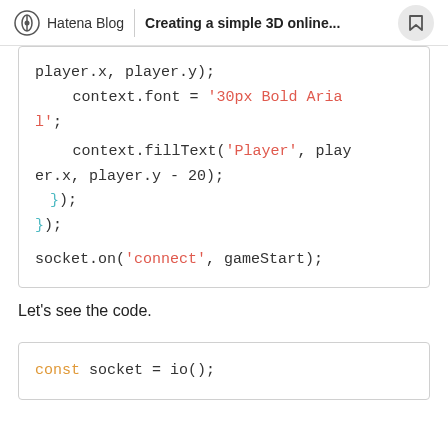Hatena Blog | Creating a simple 3D online...
player.x, player.y);
        context.font = '30px Bold Arial';
        context.fillText('Player', player.x, player.y - 20);
    });
});

socket.on('connect', gameStart);
Let's see the code.
const socket = io();